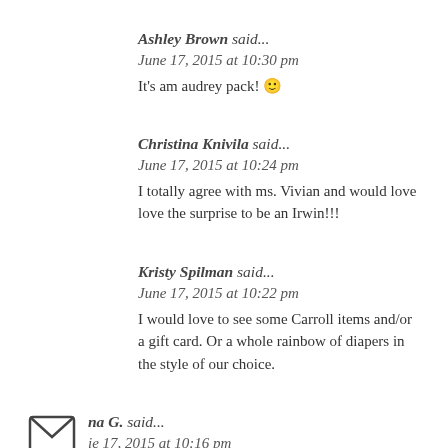Ashley Brown said... June 17, 2015 at 10:30 pm
It's am audrey pack! 🙂
Christina Knivila said... June 17, 2015 at 10:24 pm
I totally agree with ms. Vivian and would love love the surprise to be an Irwin!!!
Kristy Spilman said... June 17, 2015 at 10:22 pm
I would love to see some Carroll items and/or a gift card. Or a whole rainbow of diapers in the style of our choice.
na G. said... ie 17, 2015 at 10:16 pm
... hope the prize is an OBGE, a wet bag, and some detergent! But whatever it is, I'm sure it will be